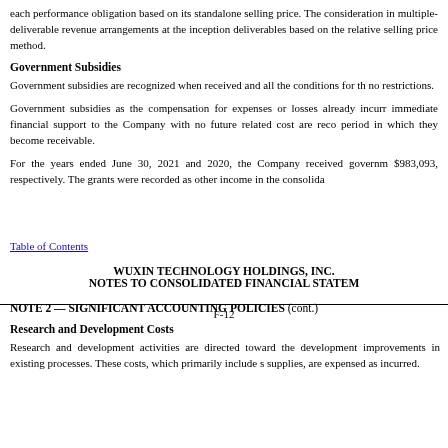each performance obligation based on its standalone selling price. The consideration in multiple-deliverable revenue arrangements at the inception deliverables based on the relative selling price method.
Government Subsidies
Government subsidies are recognized when received and all the conditions for the no restrictions.
Government subsidies as the compensation for expenses or losses already incurred immediate financial support to the Company with no future related cost are recognized period in which they become receivable.
For the years ended June 30, 2021 and 2020, the Company received government $983,093, respectively. The grants were recorded as other income in the consolidated
F-12
Table of Contents
WUXIN TECHNOLOGY HOLDINGS, INC.
NOTES TO CONSOLIDATED FINANCIAL STATEMENTS
NOTE 2 — SIGNIFICANT ACCOUNTING POLICIES (cont.)
Research and Development Costs
Research and development activities are directed toward the development improvements in existing processes. These costs, which primarily include supplies, are expensed as incurred.